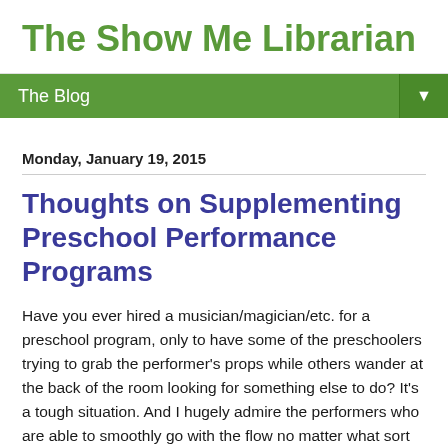The Show Me Librarian
The Blog
Monday, January 19, 2015
Thoughts on Supplementing Preschool Performance Programs
Have you ever hired a musician/magician/etc. for a preschool program, only to have some of the preschoolers trying to grab the performer's props while others wander at the back of the room looking for something else to do? It's a tough situation. And I hugely admire the performers who are able to smoothly go with the flow no matter what sort of not-ideal behavior is happening in the room.
What I just tried last week, however, was adding a few small